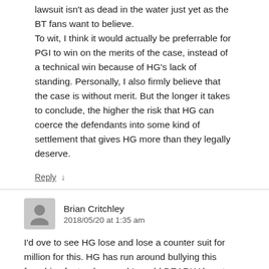lawsuit isn't as dead in the water just yet as the BT fans want to believe. To wit, I think it would actually be preferrable for PGI to win on the merits of the case, instead of a technical win because of HG's lack of standing. Personally, I also firmly believe that the case is without merit. But the longer it takes to conclude, the higher the risk that HG can coerce the defendants into some kind of settlement that gives HG more than they legally deserve.
Reply ↓
Brian Critchley
2018/05/20 at 1:35 am
I'd ove to see HG lose and lose a counter suit for million for this. HG has run around bullying this franchise for too long and I would DEARLY love to see them BURIED in court